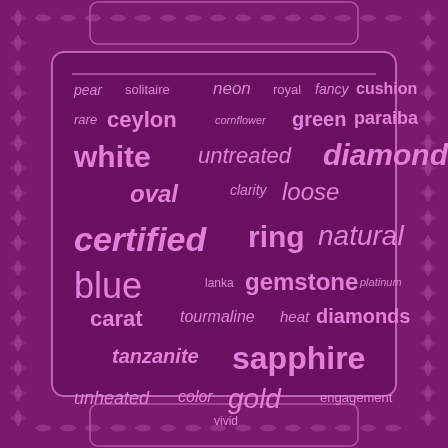[Figure (infographic): Word cloud of gemstone and jewelry related terms on a purple background with decorative floral border pattern. Words include: pear, solitaire, neon, royal, fancy, cushion, rare, ceylon, cornflower, green, paraiba, white, untreated, diamond, oval, clarity, loose, certified, ring, natural, blue, lanka, gemstone, platinum, carat, tourmaline, heat, diamonds, tanzanite, sapphire, unheated, color, gold, engagement, vivid]